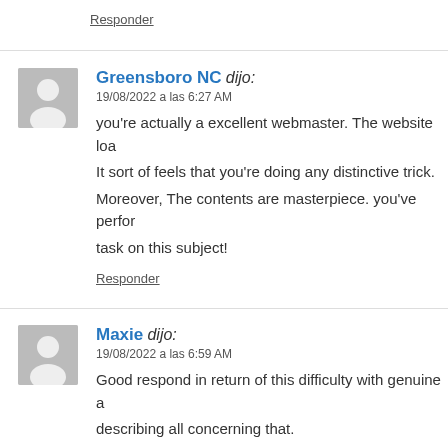Responder
Greensboro NC dijo:
19/08/2022 a las 6:27 AM
you’re actually a excellent webmaster. The website loa… It sort of feels that you’re doing any distinctive trick. Moreover, The contents are masterpiece. you’ve perfor… task on this subject!
Responder
Maxie dijo:
19/08/2022 a las 6:59 AM
Good respond in return of this difficulty with genuine a… describing all concerning that.